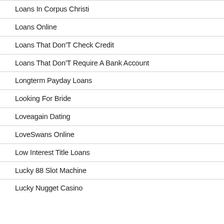Loans In Corpus Christi
Loans Online
Loans That Don'T Check Credit
Loans That Don'T Require A Bank Account
Longterm Payday Loans
Looking For Bride
Loveagain Dating
LoveSwans Online
Low Interest Title Loans
Lucky 88 Slot Machine
Lucky Nugget Casino